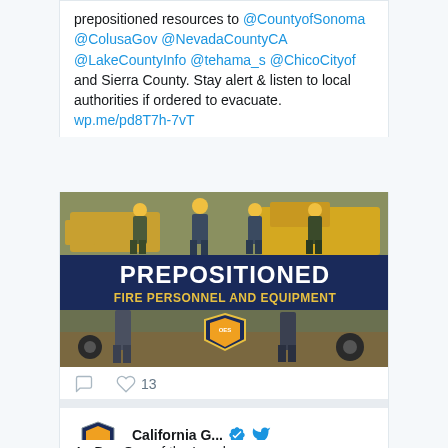prepositioned resources to @CountyofSonoma @ColusaGov @NevadaCountyCA @LakeCountyInfo @tehama_s @ChicoCityof and Sierra County. Stay alert & listen to local authorities if ordered to evacuate. wp.me/pd8T7h-7vT
[Figure (photo): Promotional image showing firefighters in yellow hard hats standing near vehicles, with a dark blue banner reading PREPOSITIONED FIRE PERSONNEL AND EQUIPMENT and the California OES shield logo below.]
13
California G... @Cal_OES · 21h
As Day One of the Local